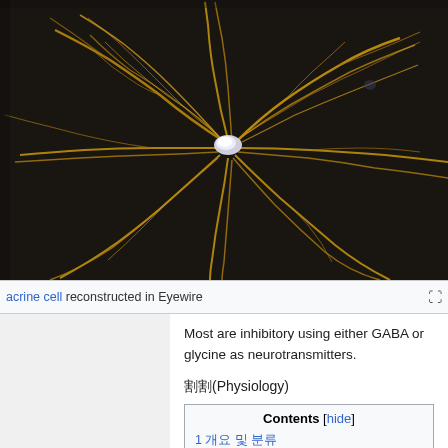[Figure (photo): 3D reconstruction of an amacrine cell shown in Eyewire, with golden/amber branching dendrites against a dark background, with a bright white cell body in the center.]
acrine cell reconstructed in Eyewire
Most are inhibitory using either GABA or glycine as neurotransmitters.
割割(Physiology)
| Contents [hide] |
| --- |
| 1 개요 및 분류 |
| 2 Cellular Biophysics |